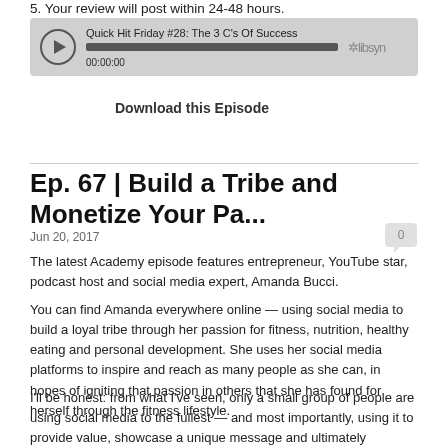5. Your review will post within 24-48 hours.
[Figure (other): Podcast audio player widget showing 'Quick Hit Friday #28: The 3 C's Of Success', progress bar at 00:00:00, with Libsyn branding]
Download this Episode
Ep. 67 | Build a Tribe and Monetize Your Pa...
Jun 20, 2017
The latest Academy episode features entrepreneur, YouTube star, podcast host and social media expert, Amanda Bucci.
You can find Amanda everywhere online — using social media to build a loyal tribe through her passion for fitness, nutrition, healthy eating and personal development. She uses her social media platforms to inspire and reach as many people as she can, in hopes of igniting that passion in others that she has found for herself through the fitness lifestyle.
I'll be honest: from what I've seen, only a small group of people are using social media to the fullest — and most importantly, using it to provide value, showcase a unique message and ultimately monetize their passion.
During this fun, exciting and engaging episode you'll learn how to build a raving tribe on social media, connect and engage with them, the power of